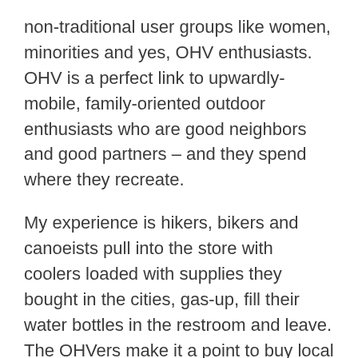non-traditional user groups like women, minorities and yes, OHV enthusiasts. OHV is a perfect link to upwardly-mobile, family-oriented outdoor enthusiasts who are good neighbors and good partners – and they spend where they recreate.
My experience is hikers, bikers and canoeists pull into the store with coolers loaded with supplies they bought in the cities, gas-up, fill their water bottles in the restroom and leave. The OHVers make it a point to buy local and develop meaningful, long-term local relationships.
You're likely not hearing much from your local businesses on this. My bet is a few people are making things pretty testy in town. But it's no secret local retailers are hurting after a year like we've just come through when conditions were already tough for businesses in small